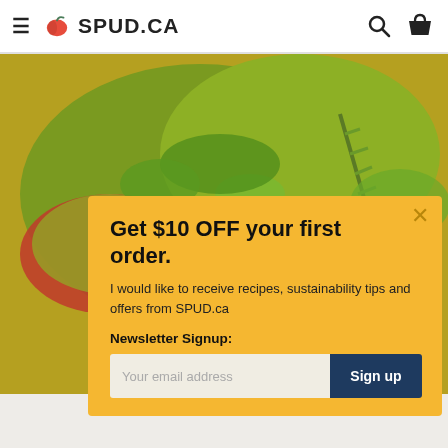SPUD.CA
[Figure (photo): Close-up photo of vegetable soup with carrots, zucchini, herbs including rosemary, in a red pot with broth]
Get $10 OFF your first order.
I would like to receive recipes, sustainability tips and offers from SPUD.ca
Newsletter Signup:
Your email address
Sign up